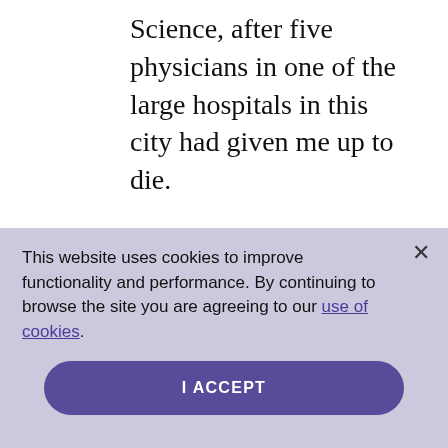Science, after five physicians in one of the large hospitals in this city had given me up to die.
This website uses cookies to improve functionality and performance. By continuing to browse the site you are agreeing to our use of cookies.
I ACCEPT